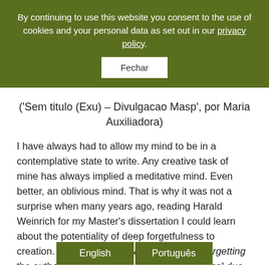By continuing to use this website you consent to the use of cookies and your personal data as set out in our privacy policy.
Fechar
('Sem titulo (Exu) – Divulgacao Masp', por Maria Auxiliadora)
I have always had to allow my mind to be in a contemplative state to write. Any creative task of mine has always implied a meditative mind. Even better, an oblivious mind. That is why it was not a surprise when many years ago, reading Harald Weinrich for my Master's dissertation I could learn about the potentiality of deep forgetfulness to creation. In Lethe: The Art and Critique of Forgetting the author shows how these two, the dialectical duo forgetting/reme... d interconnected. If I use the Por... re
English
Português